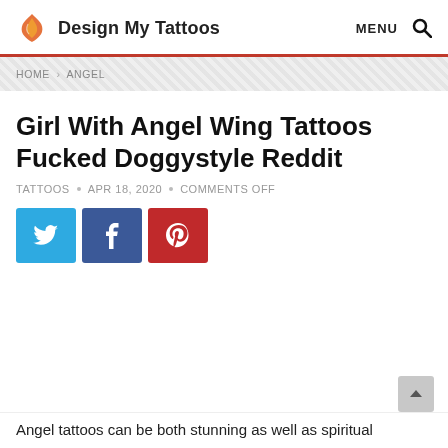Design My Tattoos   MENU 🔍
HOME > ANGEL
Girl With Angel Wing Tattoos Fucked Doggystyle Reddit
TATTOOS • APR 18, 2020 • COMMENTS OFF
[Figure (infographic): Three social share buttons: Twitter (blue), Facebook (dark blue), Pinterest (red)]
Angel tattoos can be both stunning as well as spiritual